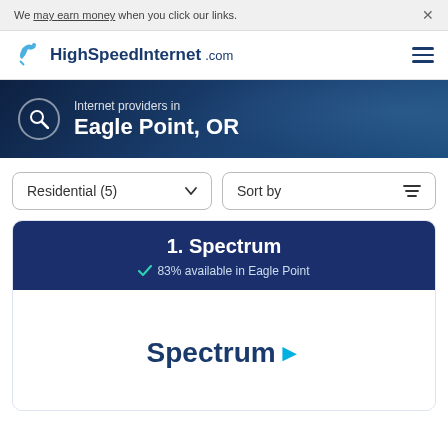We may earn money when you click our links.
[Figure (logo): HighSpeedInternet.com logo with bird icon]
[Figure (infographic): Hero banner with search icon and text: Internet providers in Eagle Point, OR]
Residential (5)
Sort by
1. Spectrum
83% available in Eagle Point
[Figure (logo): Spectrum logo with blue arrow]